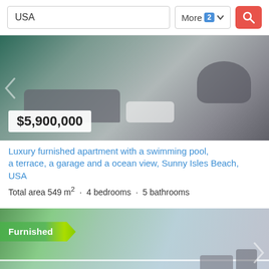[Figure (screenshot): Search bar UI with text input containing 'USA', a 'More 2' filter button with dropdown arrow, and a red search button with magnifying glass icon]
[Figure (photo): Luxury apartment interior photo in grayscale/muted tones showing modern furniture, sofa, coffee table, with price overlay showing $5,900,000]
Luxury furnished apartment with a swimming pool, a terrace, a garage and a ocean view, Sunny Isles Beach, USA
Total area 549 m² · 4 bedrooms · 5 bathrooms
[Figure (photo): Furnished apartment balcony/terrace photo with green 'Furnished' banner, showing outdoor seating, glass railing, palm trees and sky in background]